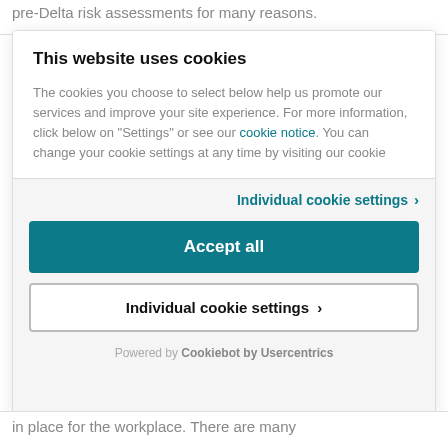pre-Delta risk assessments for many reasons.
This website uses cookies
The cookies you choose to select below help us promote our services and improve your site experience. For more information, click below on "Settings" or see our cookie notice. You can change your cookie settings at any time by visiting our cookie
Individual cookie settings >
Accept all
Individual cookie settings >
Powered by Cookiebot by Usercentrics
in place for the workplace. There are many